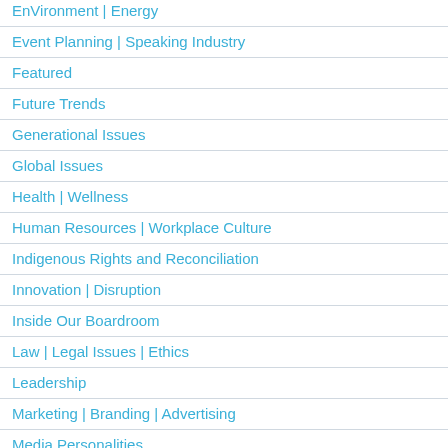EnVironment | Energy
Event Planning | Speaking Industry
Featured
Future Trends
Generational Issues
Global Issues
Health | Wellness
Human Resources | Workplace Culture
Indigenous Rights and Reconciliation
Innovation | Disruption
Inside Our Boardroom
Law | Legal Issues | Ethics
Leadership
Marketing | Branding | Advertising
Media Personalities